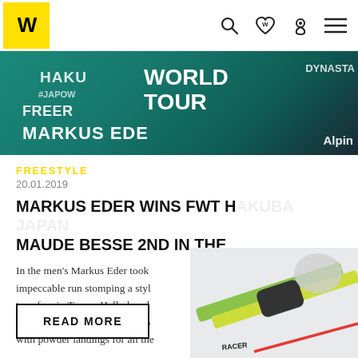Völkl logo and navigation icons (search, wishlist, store, menu)
[Figure (photo): Hero banner image showing skiers/snowboarders in teal branded gear with text: HAKU, #JAPOW, FREER, MARKUS EDER, WORLD TOUR, DYNASTAR, Alpina]
FREESTYLE
20.01.2019
MARKUS EDER WINS FWT HAKUBA JAPAN MAUDE BESSE 2ND IN THE
In the men's Markus Eder took an impeccable run stomping a stylish transfer air. Tanner Hall placed The conditions for the event co with powder landings for all the
[Figure (photo): Close-up photo of a skier's skis and boots in the snow, showing green and yellow Völkl skis with RACER branding and a red line in the snow.]
READ MORE